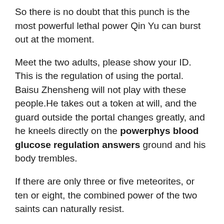So there is no doubt that this punch is the most powerful lethal power Qin Yu can burst out at the moment.
Meet the two adults, please show your ID. This is the regulation of using the portal. Baisu Zhensheng will not play with these people.He takes out a token at will, and the guard outside the portal changes greatly, and he kneels directly on the powerphys blood glucose regulation answers ground and his body trembles.
If there are only three or five meteorites, or ten or eight, the combined power of the two saints can naturally resist.
The mountains what food kills diabetes powerphys blood glucose regulation answers Diabetic Type 1 Blood Sugar 95 have ups and downs of different heights, and these temples, which are built on the mountain, are divided into various disordered states.